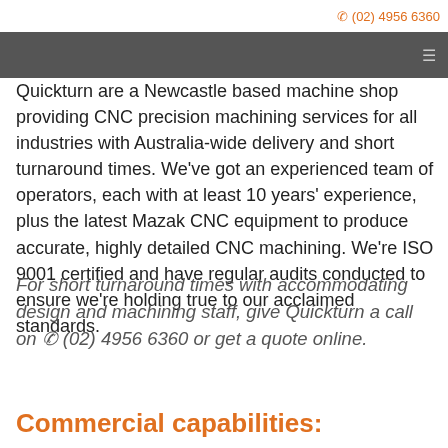☎ (02) 4956 6360
Quickturn are a Newcastle based machine shop providing CNC precision machining services for all industries with Australia-wide delivery and short turnaround times. We've got an experienced team of operators, each with at least 10 years' experience, plus the latest Mazak CNC equipment to produce accurate, highly detailed CNC machining. We're ISO 9001 certified and have regular audits conducted to ensure we're holding true to our acclaimed standards.
For short turnaround times with accommodating design and machining staff, give Quickturn a call on ☎ (02) 4956 6360 or get a quote online.
Commercial capabilities: